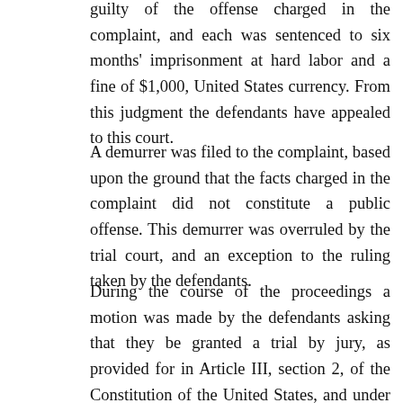guilty of the offense charged in the complaint, and each was sentenced to six months' imprisonment at hard labor and a fine of $1,000, United States currency. From this judgment the defendants have appealed to this court.
A demurrer was filed to the complaint, based upon the ground that the facts charged in the complaint did not constitute a public offense. This demurrer was overruled by the trial court, and an exception to the ruling taken by the defendants.
During the course of the proceedings a motion was made by the defendants asking that they be granted a trial by jury, as provided for in Article III, section 2, of the Constitution of the United States, and under the sixth amendment to the Constitution, which motion was denied by the court, and an exception was also taken to this ruling.